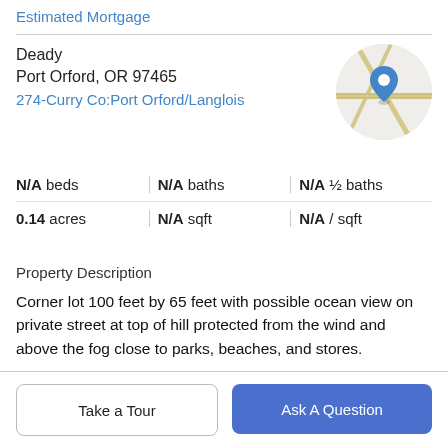Estimated Mortgage
Deady
Port Orford, OR 97465
274-Curry Co:Port Orford/Langlois
[Figure (map): Circular map thumbnail showing road map with blue location pin marker]
N/A beds | N/A baths | N/A ½ baths
0.14 acres | N/A sqft | N/A / sqft
Property Description
Corner lot 100 feet by 65 feet with possible ocean view on private street at top of hill protected from the wind and above the fog close to parks, beaches, and stores.
Take a Tour
Ask A Question